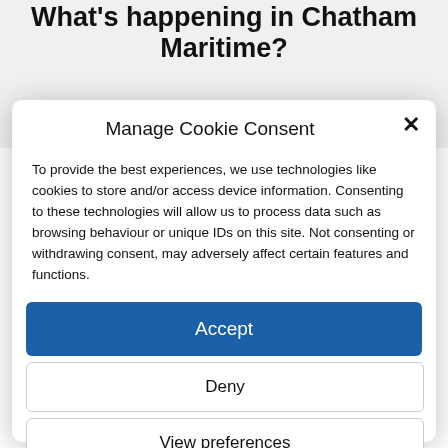What's happening in Chatham Maritime?
Sign up for our weekly newsletter the Friday
Manage Cookie Consent
To provide the best experiences, we use technologies like cookies to store and/or access device information. Consenting to these technologies will allow us to process data such as browsing behaviour or unique IDs on this site. Not consenting or withdrawing consent, may adversely affect certain features and functions.
Accept
Deny
View preferences
Cookie Policy   Privacy Policy